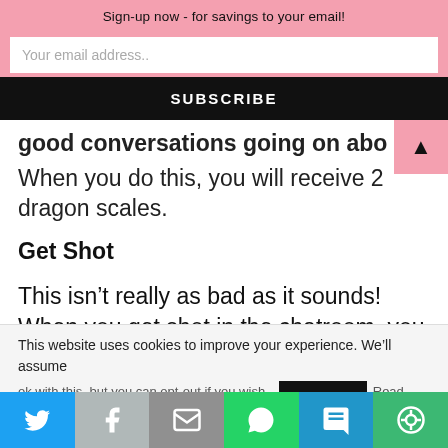Sign-up now - for savings to your email!
Your email address..
SUBSCRIBE
good conversations going on about a number of to
When you do this, you will receive 2 dragon scales.
Get Shot
This isn't really as bad as it sounds!  When you get shot in the chatroom, you receive an arrowhead.  Arrowheads are worth about a penny each, but they add up quickly by doing offers and getting shot in the chatroom.  You
This website uses cookies to improve your experience. We'll assume
Twitter | Facebook | Email | WhatsApp | SMS | More